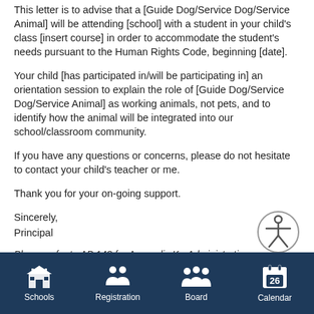This letter is to advise that a [Guide Dog/Service Dog/Service Animal] will be attending [school] with a student in your child's class [insert course] in order to accommodate the student's needs pursuant to the Human Rights Code, beginning [date].
Your child [has participated in/will be participating in] an orientation session to explain the role of [Guide Dog/Service Dog/Service Animal] as working animals, not pets, and to identify how the animal will be integrated into our school/classroom community.
If you have any questions or concerns, please do not hesitate to contact your child's teacher or me.
Thank you for your on-going support.
Sincerely,
Principal
[Figure (illustration): Accessibility icon — a circle with a stick figure person with arms outstretched]
Please refer to AP 148 for Appendix K - Administrative
Schools | Registration | Board | Calendar